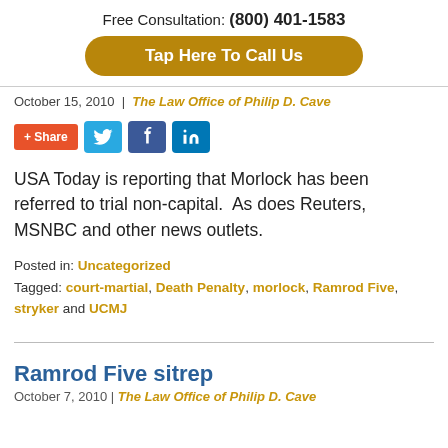Free Consultation: (800) 401-1583
[Figure (other): Golden rounded button reading 'Tap Here To Call Us']
October 15, 2010 | The Law Office of Philip D. Cave
[Figure (other): Social sharing buttons: +Share, Twitter, Facebook, LinkedIn]
USA Today is reporting that Morlock has been referred to trial non-capital.  As does Reuters, MSNBC and other news outlets.
Posted in: Uncategorized
Tagged: court-martial, Death Penalty, morlock, Ramrod Five, stryker and UCMJ
Ramrod Five sitrep
October 7, 2010 | The Law Office of Philip D. Cave